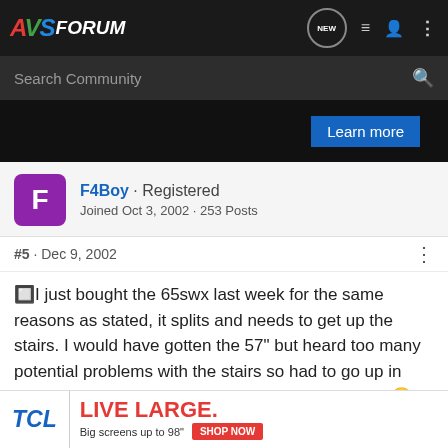AVSForum — Search Community
[Figure (screenshot): Advertisement banner with 'Learn more' button on dark background]
F4Boy · Registered
Joined Oct 3, 2002 · 253 Posts
#5 · Dec 9, 2002
I just bought the 65swx last week for the same reasons as stated, it splits and needs to get up the stairs. I would have gotten the 57" but heard too many potential problems with the stairs so had to go up in size. Hope the darn thing isn't going to be too big. 😉 I'll be 12-13' away. Unfortunately, I won't get it delivere
[Figure (screenshot): TCL LIVE LARGE advertisement banner — Big screens up to 98" with SHOP NOW button]